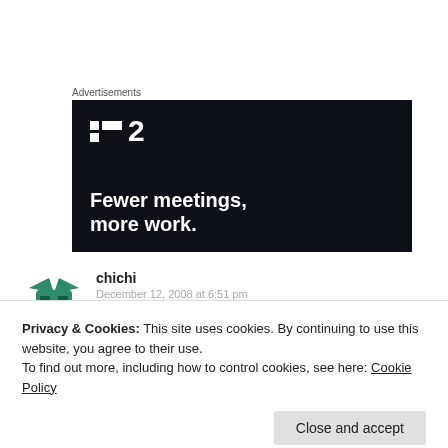Advertisements
[Figure (screenshot): Advertisement banner with dark background showing the Plan.io logo and tagline 'Fewer meetings, more work.']
chichi
December 12, 2008 at 6:51 pm
Privacy & Cookies: This site uses cookies. By continuing to use this website, you agree to their use.
To find out more, including how to control cookies, see here: Cookie Policy
Close and accept
quoter. You know that you are wearing a which. You know with a necklace and a